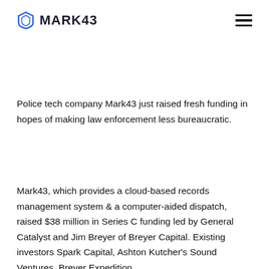MARK43
Police tech company Mark43 just raised fresh funding in hopes of making law enforcement less bureaucratic.
Mark43, which provides a cloud-based records management system & a computer-aided dispatch, raised $38 million in Series C funding led by General Catalyst and Jim Breyer of Breyer Capital. Existing investors Spark Capital, Ashton Kutcher's Sound Ventures, Breyer Expedition...